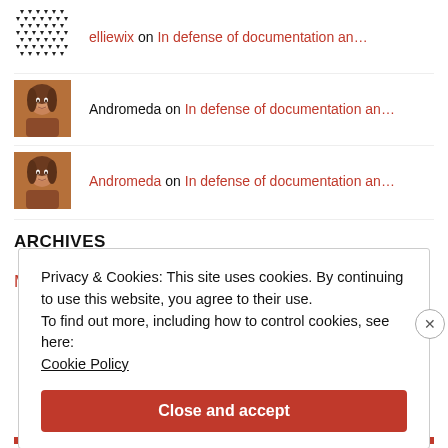elliewix on In defense of documentation an…
Andromeda on In defense of documentation an…
Andromeda on In defense of documentation an…
ARCHIVES
March 2020
Privacy & Cookies: This site uses cookies. By continuing to use this website, you agree to their use.
To find out more, including how to control cookies, see here:
Cookie Policy
Close and accept